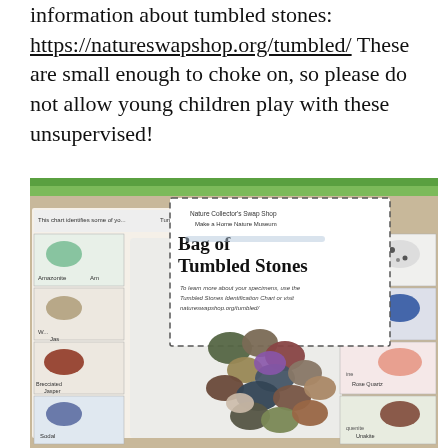information about tumbled stones: https://natureswapshop.org/tumbled/ These are small enough to choke on, so please do not allow young children play with these unsupervised!
[Figure (photo): A photograph of a bag of tumbled stones alongside identification cards from Nature Collector's Swap Shop. The bag contains various colorful polished stones. A chart card in the background labels stones including Amazonite, Brecciated Jasper, Sodalite, Dalmatian Jasper, Blue Granite, Rose Quartz, and Unakite. A dashed-border card reads 'Bag of Tumbled Stones' with instructions to use the Tumbled Stones Identification Chart.]